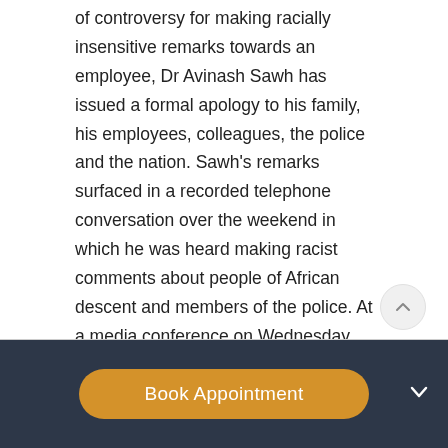of controversy for making racially insensitive remarks towards an employee, Dr Avinash Sawh has issued a formal apology to his family, his employees, colleagues, the police and the nation. Sawh's remarks surfaced in a recorded telephone conversation over the weekend in which he was heard making racist comments about people of African descent and members of the police. At a media conference on Wednesday morning at his attorney Martin George's office in Port of Spain, Sawh read a prepared statement in which he apologised to his employee Ariel Figaro and "unreservedly apologised" to...
Book Appointment